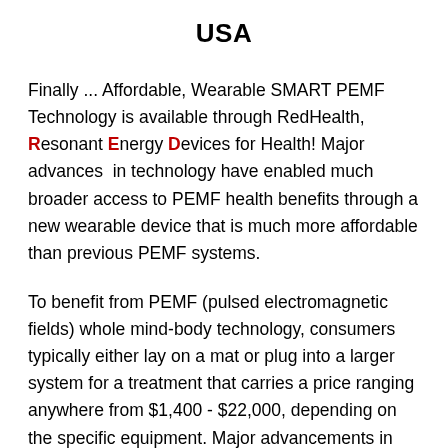USA
Finally ... Affordable, Wearable SMART PEMF Technology is available through RedHealth, Resonant Energy Devices for Health! Major advances in technology have enabled much broader access to PEMF health benefits through a new wearable device that is much more affordable than previous PEMF systems.
To benefit from PEMF (pulsed electromagnetic fields) whole mind-body technology, consumers typically either lay on a mat or plug into a larger system for a treatment that carries a price ranging anywhere from $1,400 - $22,000, depending on the specific equipment. Major advancements in